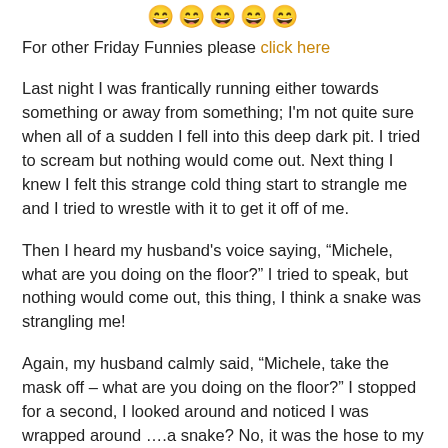[Figure (other): Row of five smiley face emoji icons]
For other Friday Funnies please click here
Last night I was frantically running either towards something or away from something; I'm not quite sure when all of a sudden I fell into this deep dark pit. I tried to scream but nothing would come out. Next thing I knew I felt this strange cold thing start to strangle me and I tried to wrestle with it to get it off of me.
Then I heard my husband's voice saying, “Michele, what are you doing on the floor?” I tried to speak, but nothing would come out, this thing, I think a snake was strangling me!
Again, my husband calmly said, “Michele, take the mask off – what are you doing on the floor?” I stopped for a second, I looked around and noticed I was wrapped around ….a snake? No, it was the hose to my bi-pap machine! I finally realized I am not in a deep dark pit... but on the floor beside